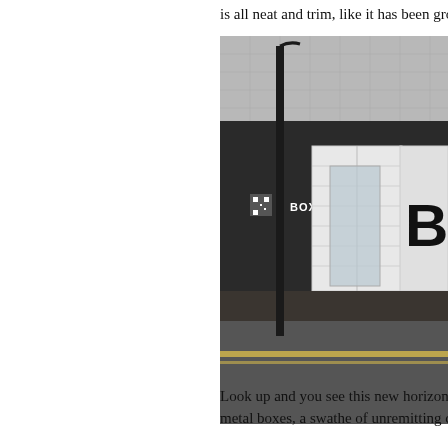is all neat and trim, like it has been groo
[Figure (photo): Street-level photograph of Boxpark, Shoreditch. A white shipping container with open doors sits in front of a dark wall with 'BOXPARK' text and a large letter 'B' visible. A tall black lamp post stands in the foreground. A grey tiled building facade is visible in the background under an overcast sky.]
Look up and you see this new horizon o metal boxes, a swathe of unremitting co